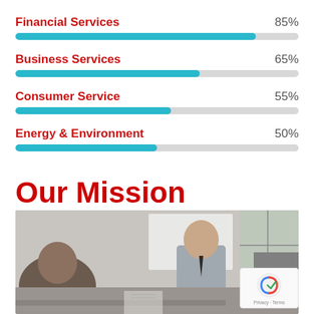[Figure (bar-chart): Service Categories]
Our Mission
[Figure (photo): Business meeting photo showing people in an office setting]